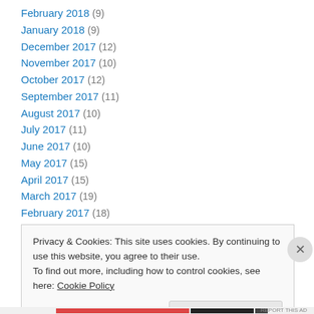February 2018 (9)
January 2018 (9)
December 2017 (12)
November 2017 (10)
October 2017 (12)
September 2017 (11)
August 2017 (10)
July 2017 (11)
June 2017 (10)
May 2017 (15)
April 2017 (15)
March 2017 (19)
February 2017 (18)
Privacy & Cookies: This site uses cookies. By continuing to use this website, you agree to their use.
To find out more, including how to control cookies, see here: Cookie Policy